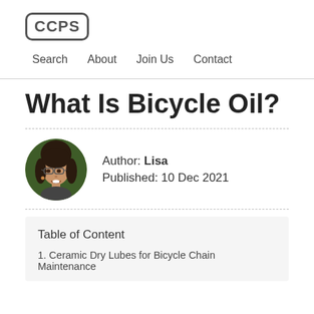CCPS
Search   About   Join Us   Contact
What Is Bicycle Oil?
[Figure (photo): Circular profile photo of a smiling woman with glasses and dark hair, against a dark green background.]
Author: Lisa
Published: 10 Dec 2021
Table of Content
1. Ceramic Dry Lubes for Bicycle Chain Maintenance